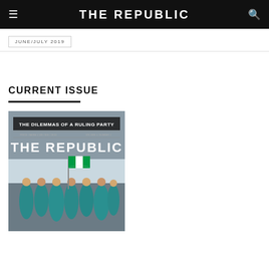THE REPUBLIC
JUNE/JULY 2019
CURRENT ISSUE
[Figure (illustration): Magazine cover of The Republic, June/July 2019 issue, titled 'THE DILEMMAS OF A RULING PARTY'. Shows people in teal robes waving a flag against a grey sky background.]